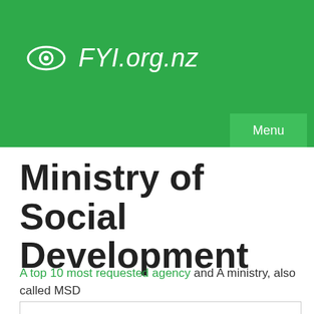[Figure (logo): FYI.org.nz website header with eye logo icon and italic FYI.org.nz text in white on green background, with a Menu button]
Ministry of Social Development
A top 10 most requested agency and A ministry, also called MSD